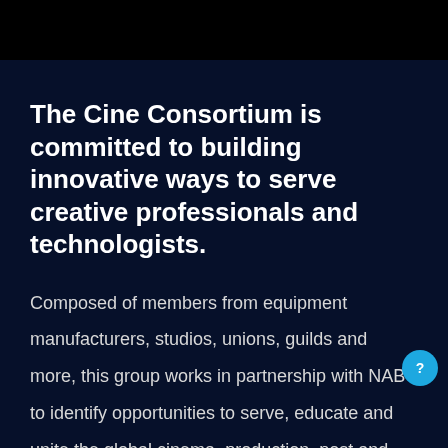The Cine Consortium is committed to building innovative ways to serve creative professionals and technologists.
Composed of members from equipment manufacturers, studios, unions, guilds and more, this group works in partnership with NAB to identify opportunities to serve, educate and unite the global cinema, production, post and broader content